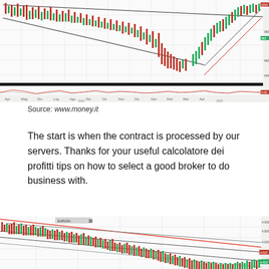[Figure (continuous-plot): Financial candlestick chart showing price action with trend lines (triangle/wedge pattern), a red/pink oscillator panel at the bottom, and x-axis date labels from Apr 2019 to Apr 2020. Price levels visible on right axis around 980-1000. Red and green candles with descending channel and bounce pattern.]
Source: www.money.it
The start is when the contract is processed by our servers. Thanks for your useful calcolatore dei profitti tips on how to select a good broker to do business with.
[Figure (continuous-plot): Financial candlestick chart showing a descending channel with two converging trend lines (one red, one blue/grey). Red and green candles trending downward. Right axis shows values around 4500-4900. A small label box visible in upper left corner.]